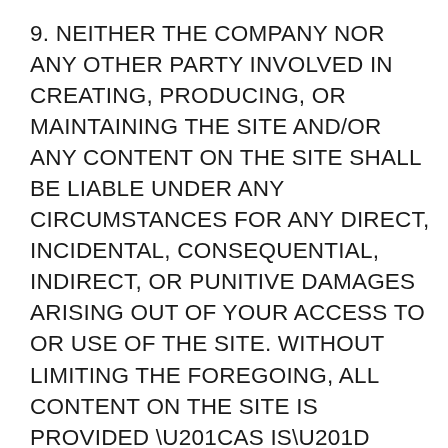9. NEITHER THE COMPANY NOR ANY OTHER PARTY INVOLVED IN CREATING, PRODUCING, OR MAINTAINING THE SITE AND/OR ANY CONTENT ON THE SITE SHALL BE LIABLE UNDER ANY CIRCUMSTANCES FOR ANY DIRECT, INCIDENTAL, CONSEQUENTIAL, INDIRECT, OR PUNITIVE DAMAGES ARISING OUT OF YOUR ACCESS TO OR USE OF THE SITE. WITHOUT LIMITING THE FOREGOING, ALL CONTENT ON THE SITE IS PROVIDED “AS IS” WITHOUT WARRANTY OF ANY KIND, EITHER EXPRESSED OR IMPLIED, INCLUDING, BUT NOT LIMITED TO, THE IMPLIED WARRANTIES OF MERCHANTABILITY OR FITNESS FOR A PARTICULAR PURPOSE. THE COMPANY DOES NOT WARRANT OR MAKE ANY